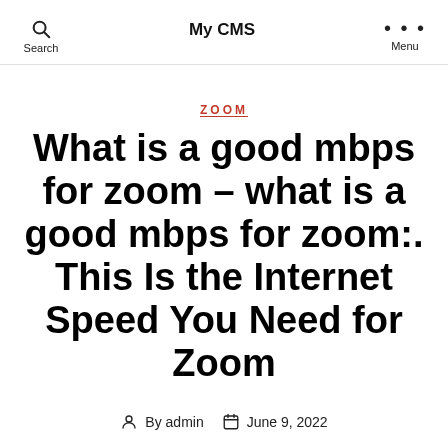My CMS
ZOOM
What is a good mbps for zoom – what is a good mbps for zoom:. This Is the Internet Speed You Need for Zoom
By admin   June 9, 2022